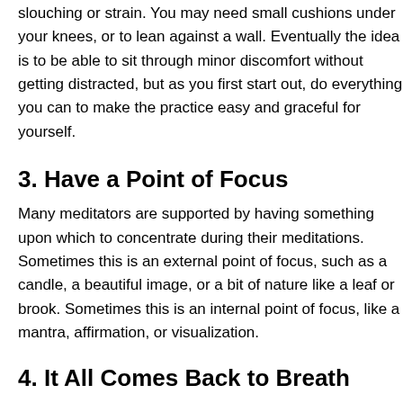slouching or strain. You may need small cushions under your knees, or to lean against a wall. Eventually the idea is to be able to sit through minor discomfort without getting distracted, but as you first start out, do everything you can to make the practice easy and graceful for yourself.
3. Have a Point of Focus
Many meditators are supported by having something upon which to concentrate during their meditations. Sometimes this is an external point of focus, such as a candle, a beautiful image, or a bit of nature like a leaf or brook. Sometimes this is an internal point of focus, like a mantra, affirmation, or visualization.
4. It All Comes Back to Breath
The primary point of focus in most types of meditation is the breath. Deep breathing offers innumerable benefits for body and